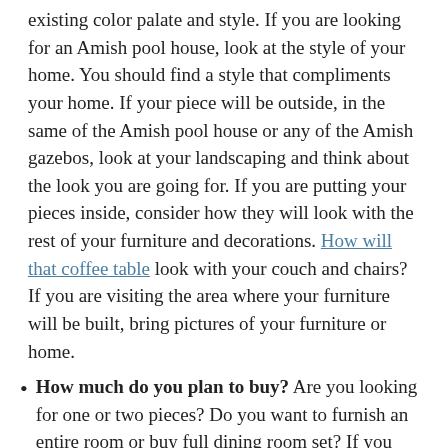existing color palate and style. If you are looking for an Amish pool house, look at the style of your home. You should find a style that compliments your home. If your piece will be outside, in the same of the Amish pool house or any of the Amish gazebos, look at your landscaping and think about the look you are going for. If you are putting your pieces inside, consider how they will look with the rest of your furniture and decorations. How will that coffee table look with your couch and chairs? If you are visiting the area where your furniture will be built, bring pictures of your furniture or home.
How much do you plan to buy? Are you looking for one or two pieces? Do you want to furnish an entire room or buy full dining room set? If you want to get a large number of pieces, you will probably have to be patient. Amish builders do not mass produce their pieces and will scoff at being asked to do that. What you can do is buy a few pieces here and another few